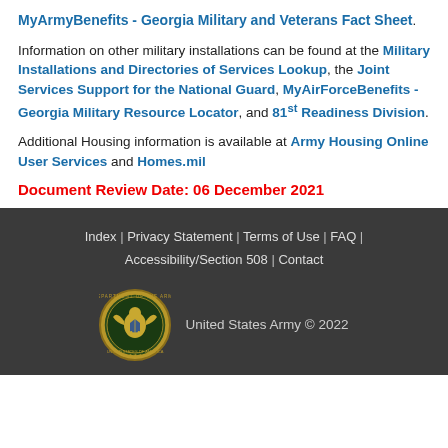MyArmyBenefits - Georgia Military and Veterans Fact Sheet. Information on other military installations can be found at the Military Installations and Directories of Services Lookup, the Joint Services Support for the National Guard, MyAirForceBenefits - Georgia Military Resource Locator, and 81st Readiness Division. Additional Housing information is available at Army Housing Online User Services and Homes.mil
Document Review Date: 06 December 2021
Index | Privacy Statement | Terms of Use | FAQ | Accessibility/Section 508 | Contact
United States Army © 2022